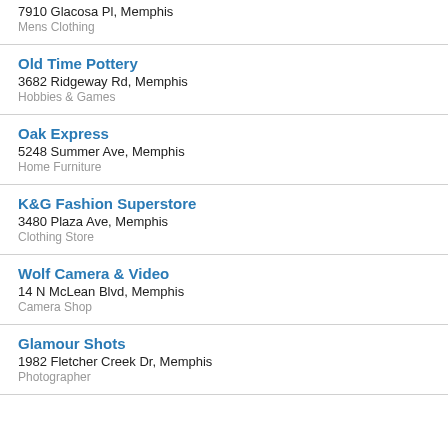7910 Glacosa Pl, Memphis
Mens Clothing
Old Time Pottery
3682 Ridgeway Rd, Memphis
Hobbies & Games
Oak Express
5248 Summer Ave, Memphis
Home Furniture
K&G Fashion Superstore
3480 Plaza Ave, Memphis
Clothing Store
Wolf Camera & Video
14 N McLean Blvd, Memphis
Camera Shop
Glamour Shots
1982 Fletcher Creek Dr, Memphis
Photographer